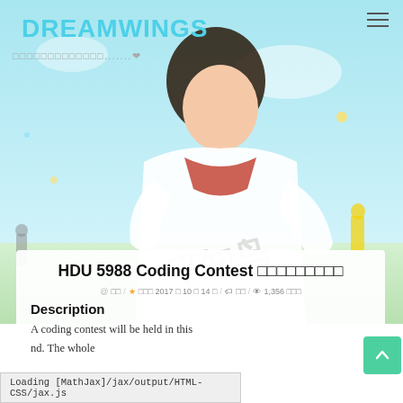DREAMWINGS
□□□□□□□□□□□□□.......♥
[Figure (illustration): Anime-style illustration of a character in white clothing with teal/blue background, with watermark text visible]
HDU 5988 Coding Contest □□□□□□□□□
@ □□ / ★ □□□ 2017 □ 10 □ 14 □ / 🏷 □□ / 👁 1,356 □□□
Description
A coding contest will be held in this
nd. The whole
Loading [MathJax]/jax/output/HTML-CSS/jax.js